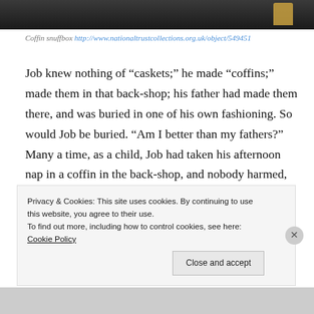[Figure (photo): Top portion of a photograph showing a dark background (likely a coffin snuffbox), with a small amber/gold colored object visible at upper right.]
Coffin snuffbox http://www.nationaltrustcollections.org.uk/object/549451
Job knew nothing of “caskets;” he made “coffins;” made them in that back-shop; his father had made them there, and was buried in one of his own fashioning. So would Job be buried. “Am I better than my fathers?” Many a time, as a child, Job had taken his afternoon nap in a coffin in the back-shop, and nobody harmed, no human life the shorter for it. Years afterward, when his wife died, Job knew that life’s noon had passed. After
Privacy & Cookies: This site uses cookies. By continuing to use this website, you agree to their use.
To find out more, including how to control cookies, see here: Cookie Policy
Close and accept